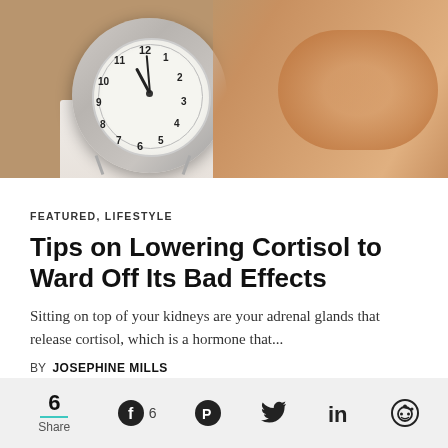[Figure (photo): Alarm clock on a nightstand with a person sleeping in the background]
FEATURED, LIFESTYLE
Tips on Lowering Cortisol to Ward Off Its Bad Effects
Sitting on top of your kidneys are your adrenal glands that release cortisol, which is a hormone that...
BY JOSEPHINE MILLS
6 Share  Facebook 6  Pinterest  Twitter  LinkedIn  Reddit